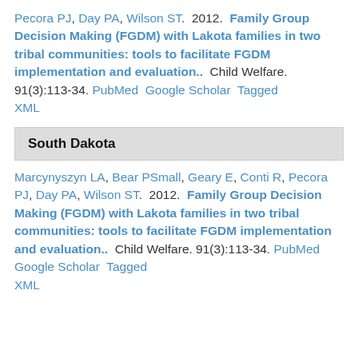Pecora PJ, Day PA, Wilson ST. 2012. Family Group Decision Making (FGDM) with Lakota families in two tribal communities: tools to facilitate FGDM implementation and evaluation.. Child Welfare. 91(3):113-34. PubMed Google Scholar Tagged XML
South Dakota
Marcynyszyn LA, Bear PSmall, Geary E, Conti R, Pecora PJ, Day PA, Wilson ST. 2012. Family Group Decision Making (FGDM) with Lakota families in two tribal communities: tools to facilitate FGDM implementation and evaluation.. Child Welfare. 91(3):113-34. PubMed Google Scholar Tagged XML